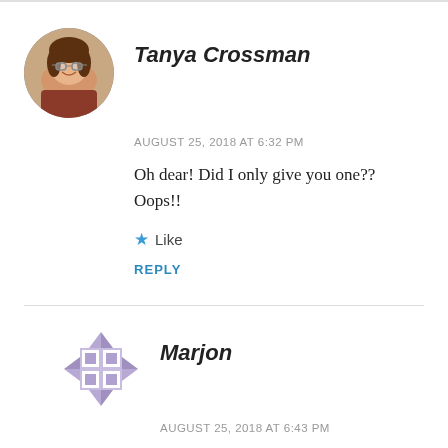[Figure (photo): Circular avatar photo of Tanya Crossman, a woman with glasses and brown hair, smiling]
Tanya Crossman
AUGUST 25, 2018 AT 6:32 PM
Oh dear! Did I only give you one?? Oops!!
★ Like
REPLY
[Figure (illustration): Geometric quilt-pattern avatar icon in muted purple/lavender for Marjon]
Marjon
AUGUST 25, 2018 AT 6:43 PM
Well I asked for just one, so that's